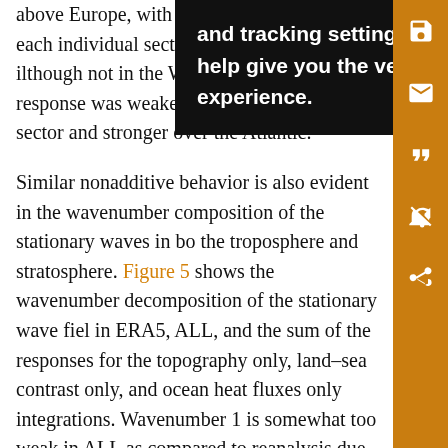above Eu[rope, with the anomalous heat fluxes to each indiv]idual sector forcing [the] response [in] [althou]gh not in the We[stern sector. The response wa]s weaker in the North American sector and stronger over the Atlantic.
Similar nonadditive behavior is also evident in the wavenumber composition of the stationary waves in both the troposphere and stratosphere. Figure 5 shows the wavenumber decomposition of the stationary wave field in ERA5, ALL, and the sum of the responses for the topography only, land–sea contrast only, and ocean heat fluxes only integrations. Wavenumber 1 is somewhat too weak in ALL as compared to reanalysis due to the relative weakness of the North Atlantic ridge [cf. Fig. 2 of Garfinkel et al. (2010)], and this bias is present in the sum